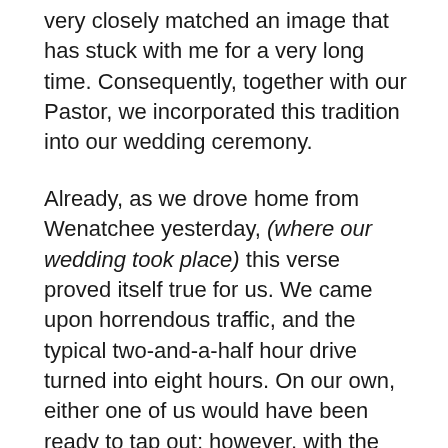very closely matched an image that has stuck with me for a very long time. Consequently, together with our Pastor, we incorporated this tradition into our wedding ceremony.
Already, as we drove home from Wenatchee yesterday, (where our wedding took place) this verse proved itself true for us. We came upon horrendous traffic, and the typical two-and-a-half hour drive turned into eight hours. On our own, either one of us would have been ready to tap out; however, with the support of one another and the grace of God, we successfully navigated our way home through the heat and traffic, unscathed and still speaking to one another.  The wonderful thing about the